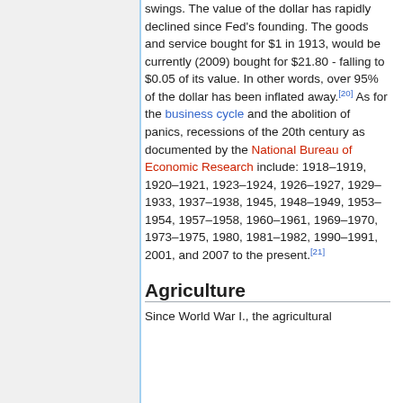swings. The value of the dollar has rapidly declined since Fed's founding. The goods and service bought for $1 in 1913, would be currently (2009) bought for $21.80 - falling to $0.05 of its value. In other words, over 95% of the dollar has been inflated away.[20] As for the business cycle and the abolition of panics, recessions of the 20th century as documented by the National Bureau of Economic Research include: 1918–1919, 1920–1921, 1923–1924, 1926–1927, 1929–1933, 1937–1938, 1945, 1948–1949, 1953–1954, 1957–1958, 1960–1961, 1969–1970, 1973–1975, 1980, 1981–1982, 1990–1991, 2001, and 2007 to the present.[21]
Agriculture
Since World War I., the agricultural